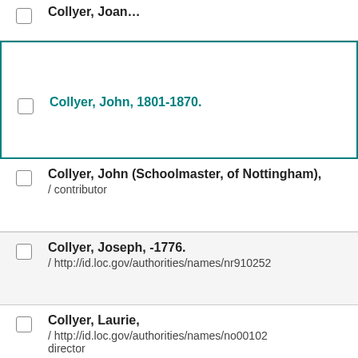Collyer, John,
Collyer, John, 1801-1870.
Collyer, John (Schoolmaster, of Nottingham), / contributor
Collyer, Joseph, -1776. / http://id.loc.gov/authorities/names/nr910252
Collyer, Laurie, / http://id.loc.gov/authorities/names/no00102 director